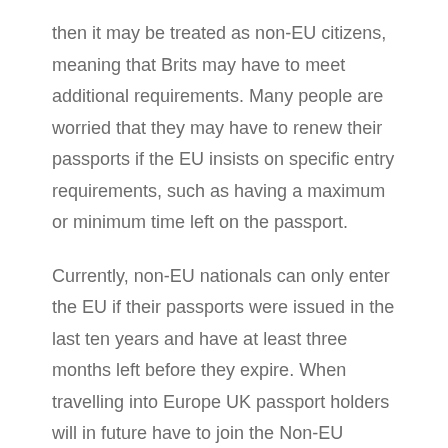then it may be treated as non-EU citizens, meaning that Brits may have to meet additional requirements. Many people are worried that they may have to renew their passports if the EU insists on specific entry requirements, such as having a maximum or minimum time left on the passport.
Currently, non-EU nationals can only enter the EU if their passports were issued in the last ten years and have at least three months left before they expire. When travelling into Europe UK passport holders will in future have to join the Non-EU citizen queue with potentially longer queues read more here about this here “Why Are UK Holidaymakers Facing Longer Security Checks?”.
The new British passport cost will be the same as the